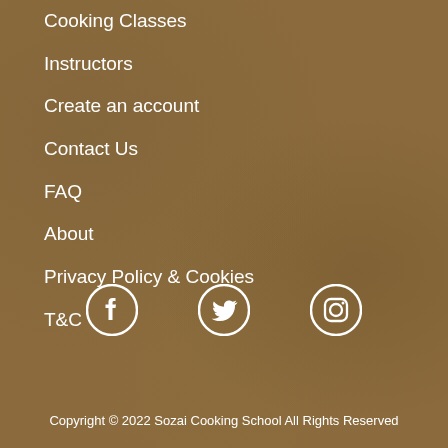Cooking Classes
Instructors
Create an account
Contact Us
FAQ
About
Privacy Policy & Cookies
T&C
[Figure (illustration): Social media icons: Facebook, Twitter, Instagram in white]
Copyright © 2022 Sozai Cooking School All Rights Reserved